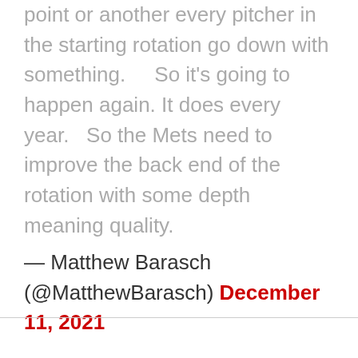point or another every pitcher in the starting rotation go down with something.    So it's going to happen again. It does every year.   So the Mets need to improve the back end of the rotation with some depth meaning quality.
— Matthew Barasch (@MatthewBarasch) December 11, 2021